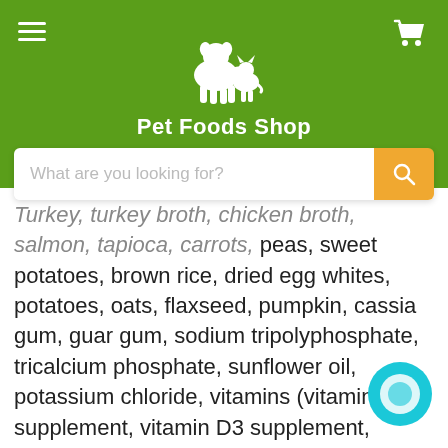[Figure (logo): Pet Foods Shop logo with dog and cat silhouettes on green background, with hamburger menu icon on left and cart icon on right]
What are you looking for?
Turkey, turkey broth, chicken broth, salmon, tapioca, carrots, peas, sweet potatoes, brown rice, dried egg whites, potatoes, oats, flaxseed, pumpkin, cassia gum, guar gum, sodium tripolyphosphate, tricalcium phosphate, sunflower oil, potassium chloride, vitamins (vitamin A supplement, vitamin D3 supplement, vitamin E supplement, niacin, d-calcium pantothenate, thiamine mononitrate, riboflavin, pyridoxine hydrochloride, folic acid, biotin, vitamin B12 supplement), minerals (zinc proteinate, iron proteinate, copper proteinate, manganese proteinate, calcium iodate, selenium yeast), choline chloride, salt, taurine.